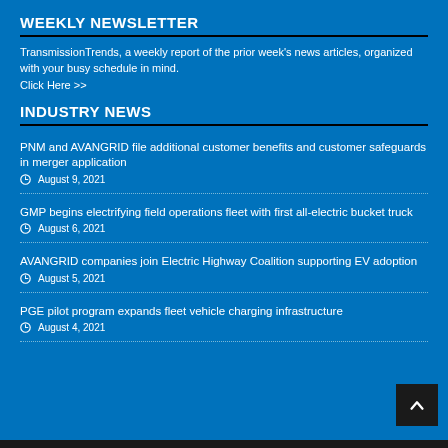WEEKLY NEWSLETTER
TransmissionTrends, a weekly report of the prior week's news articles, organized with your busy schedule in mind.
Click Here >>
INDUSTRY NEWS
PNM and AVANGRID file additional customer benefits and customer safeguards in merger application
August 9, 2021
GMP begins electrifying field operations fleet with first all-electric bucket truck
August 6, 2021
AVANGRID companies join Electric Highway Coalition supporting EV adoption
August 5, 2021
PGE pilot program expands fleet vehicle charging infrastructure
August 4, 2021